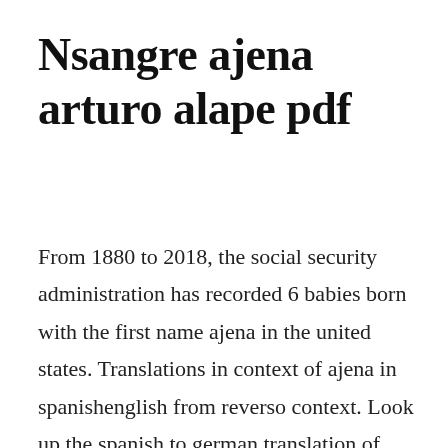Nsangre ajena arturo alape pdf
From 1880 to 2018, the social security administration has recorded 6 babies born with the first name ajena in the united states. Translations in context of ajena in spanishenglish from reverso context. Look up the spanish to german translation of ajena in the pons online dictionary. Ajegunle to the